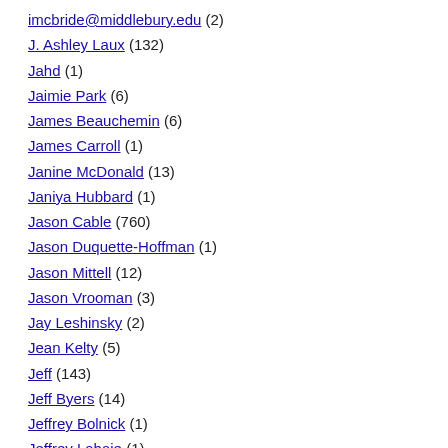imcbride@middlebury.edu (2)
J. Ashley Laux (132)
Jahd (1)
Jaimie Park (6)
James Beauchemin (6)
James Carroll (1)
Janine McDonald (13)
Janiya Hubbard (1)
Jason Cable (760)
Jason Duquette-Hoffman (1)
Jason Mittell (12)
Jason Vrooman (3)
Jay Leshinsky (2)
Jean Kelty (5)
Jeff (143)
Jeff Byers (14)
Jeffrey Bolnick (1)
Jeffrey Lahaie (1)
Jeffrey Robbash (2)